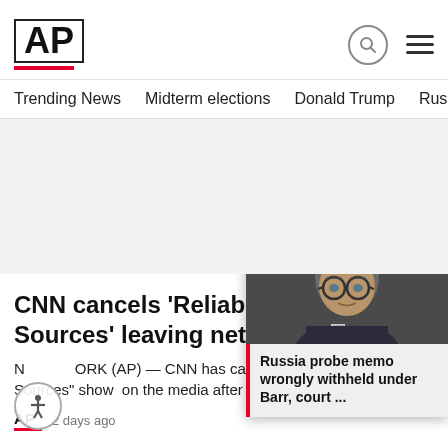AP
Trending News
Midterm elections
Donald Trump
Russia-Ukr
CNN cancels 'Reliable Sources' leaving network
NEW YORK (AP) — CNN has canceled its 'Reliable Sources' show on the media after three
AP 2 days ago
[Figure (photo): Photo of a man with glasses in a dark suit, appears to be at a congressional hearing]
Russia probe memo wrongly withheld under Barr, court ...